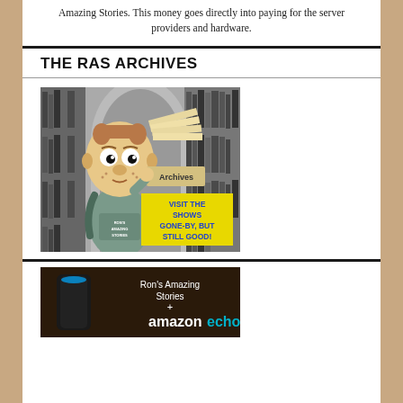Amazing Stories. This money goes directly into paying for the server providers and hardware.
THE RAS ARCHIVES
[Figure (illustration): Cartoon character holding an 'Archives' sign with text 'VISIT THE SHOWS GONE-BY, BUT STILL GOOD!' overlaid, set against a library background. Character wears a shirt reading 'RON'S AMAZING STORIES'.]
[Figure (photo): Amazon Echo device with text 'Ron's Amazing Stories + amazon echo']